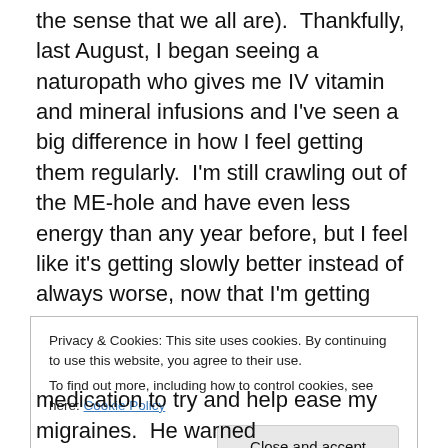the sense that we all are).  Thankfully, last August, I began seeing a naturopath who gives me IV vitamin and mineral infusions and I've seen a big difference in how I feel getting them regularly.  I'm still crawling out of the ME-hole and have even less energy than any year before, but I feel like it's getting slowly better instead of always worse, now that I'm getting these treatments.
Speaking of, an enormous THANK YOU to every single one of you who has contributed so generously to my GoFundMe campaign to help me continue the quite
Privacy & Cookies: This site uses cookies. By continuing to use this website, you agree to their use.
To find out more, including how to control cookies, see here: Cookie Policy
medication to try and help ease my migraines.  He warned